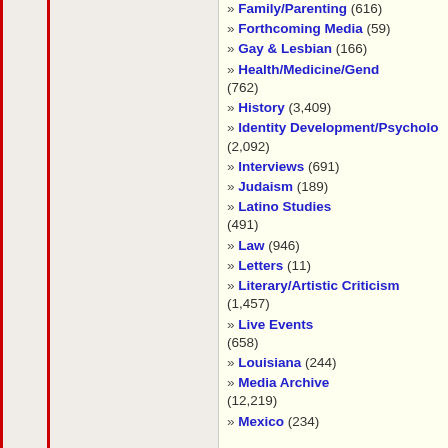» Family/Parenting (616)
» Forthcoming Media (59)
» Gay & Lesbian (166)
» Health/Medicine/Gende… (762)
» History (3,409)
» Identity Development/Psycholo… (2,092)
» Interviews (691)
» Judaism (189)
» Latino Studies (491)
» Law (946)
» Letters (11)
» Literary/Artistic Criticism (1,457)
» Live Events (658)
» Louisiana (244)
» Media Archive (12,219)
» Mexico (234)